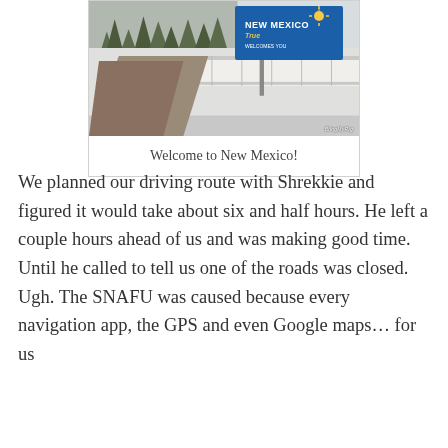[Figure (photo): Photo of a snowy road scene at the New Mexico state border with a blue 'New Mexico True Welcomes You' sign visible on the right side. A dirt/gravel road is in the foreground with snow on the ground and trees in the background. Watermark reads 'BlingMyRig' in the bottom right corner.]
Welcome to New Mexico!
We planned our driving route with Shrekkie and figured it would take about six and half hours. He left a couple hours ahead of us and was making good time. Until he called to tell us one of the roads was closed. Ugh. The SNAFU was caused because every navigation app, the GPS and even Google maps… for us